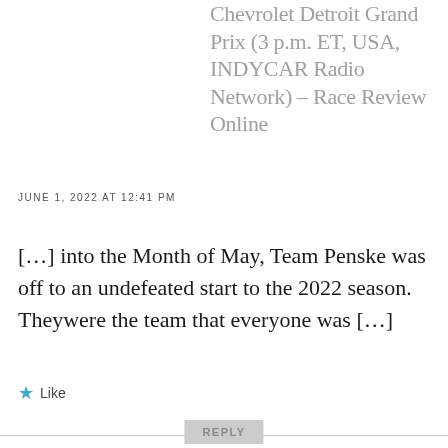Chevrolet Detroit Grand Prix (3 p.m. ET, USA, INDYCAR Radio Network) – Race Review Online
JUNE 1, 2022 AT 12:41 PM
[…] into the Month of May, Team Penske was off to an undefeated start to the 2022 season. Theywere the team that everyone was […]
Like
REPLY